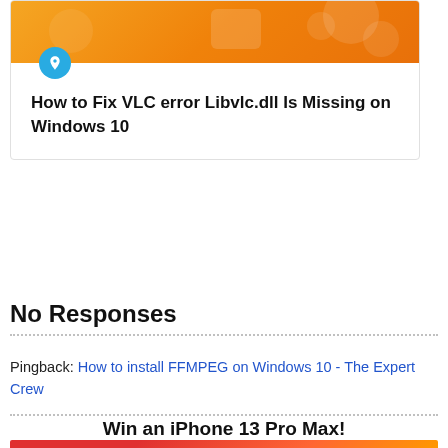[Figure (screenshot): Card with orange banner, blue pin icon, and article title 'How to Fix VLC error Libvlc.dll Is Missing on Windows 10']
No Responses
Pingback: How to install FFMPEG on Windows 10 - The Expert Crew
Win an iPhone 13 Pro Max!
[Figure (photo): Bottom image partially visible, appears to be a promotional image]